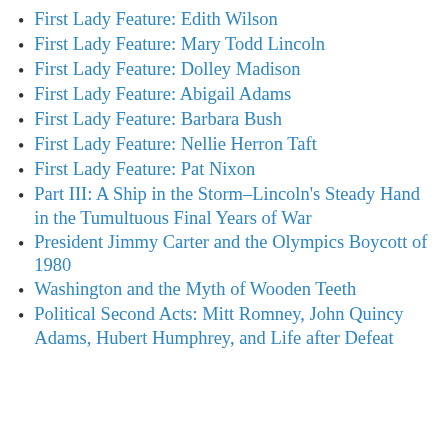First Lady Feature: Edith Wilson
First Lady Feature: Mary Todd Lincoln
First Lady Feature: Dolley Madison
First Lady Feature: Abigail Adams
First Lady Feature: Barbara Bush
First Lady Feature: Nellie Herron Taft
First Lady Feature: Pat Nixon
Part III: A Ship in the Storm–Lincoln's Steady Hand in the Tumultuous Final Years of War
President Jimmy Carter and the Olympics Boycott of 1980
Washington and the Myth of Wooden Teeth
Political Second Acts: Mitt Romney, John Quincy Adams, Hubert Humphrey, and Life after Defeat